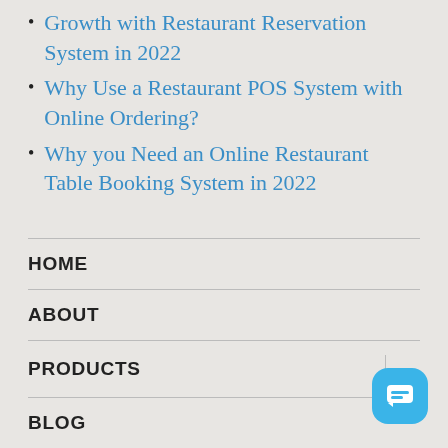Growth with Restaurant Reservation System in 2022
Why Use a Restaurant POS System with Online Ordering?
Why you Need an Online Restaurant Table Booking System in 2022
HOME
ABOUT
PRODUCTS
BLOG
CONTACT US